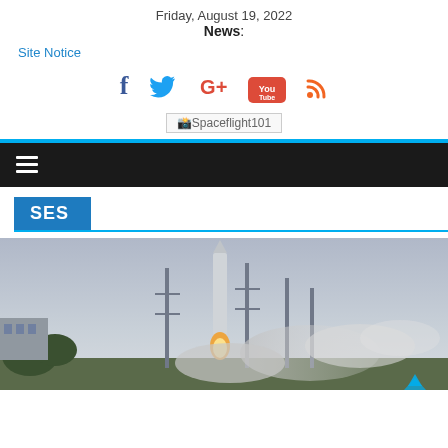Friday, August 19, 2022
News:
Site Notice
[Figure (infographic): Social media icons: Facebook, Twitter, Google+, YouTube, RSS feed]
[Figure (screenshot): Spaceflight101 logo placeholder image]
SES
[Figure (photo): Rocket launch photo showing a rocket lifting off with smoke and exhaust, launch towers visible, trees in background]